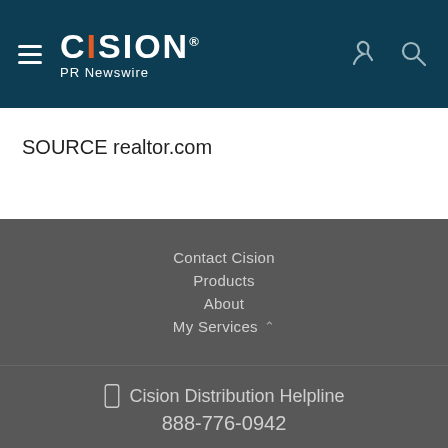[Figure (logo): Cision PR Newswire logo with hamburger menu, phone icon, and search icon on dark teal header background]
SOURCE realtor.com
Contact Cision
Products
About
My Services
□ Cision Distribution Helpline
888-776-0942
Terms of Use | Privacy Policy | Information Security Policy | Site Map | RSS | Cookie Settings
Copyright © 2022 Cision US Inc.